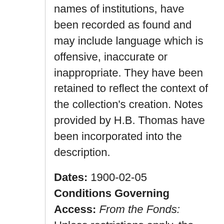names of institutions, have been recorded as found and may include language which is offensive, inaccurate or inappropriate. They have been retained to reflect the context of the collection's creation. Notes provided by H.B. Thomas have been incorporated into the description.
Dates: 1900-02-05
Conditions Governing Access: From the Fonds: Unless restrictions apply, the collection is open for consultation by researchers using the Manuscripts Reading Room at Cambridge University Library. For